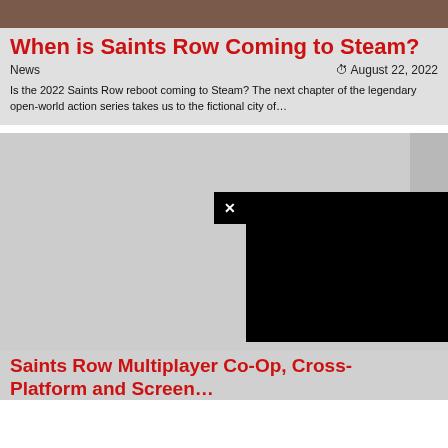[Figure (photo): Partial image at top of card, brownish tones]
When is Saints Row Coming to Steam?
News	August 22, 2022
Is the 2022 Saints Row reboot coming to Steam? The next chapter of the legendary open-world action series takes us to the fictional city of…
[Figure (screenshot): Large card with gray image area and a black video player overlay with an X close button]
Saints Row Multiplayer Co-Op, Cross-Platform and Screen…